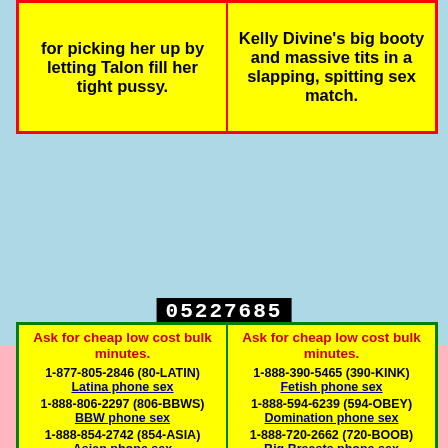for picking her up by letting Talon fill her tight pussy.
Kelly Divine's big booty and massive tits in a slapping, spitting sex match.
05227685
Ask for cheap low cost bulk minutes.
1-877-805-2846 (80-LATIN)
Latina phone sex
1-888-806-2297 (806-BBWS)
BBW phone sex
1-888-854-2742 (854-ASIA)
Asian phone sex
1-877-750-2625 (COCK)
Ask for cheap low cost bulk minutes.
1-888-390-5465 (390-KINK)
Fetish phone sex
1-888-594-6239 (594-OBEY)
Domination phone sex
1-888-720-2662 (720-BOOB)
Big Breasts phone sex
1-888-713-2669 (71-EBONY)